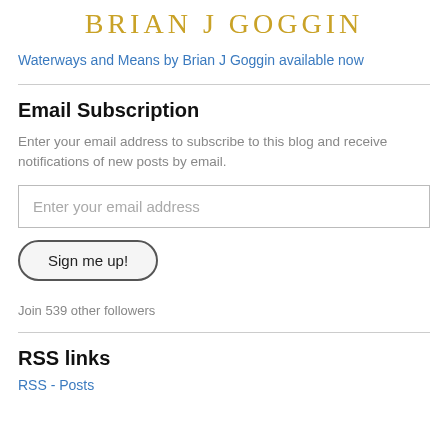BRIAN J GOGGIN
Waterways and Means by Brian J Goggin available now
Email Subscription
Enter your email address to subscribe to this blog and receive notifications of new posts by email.
Enter your email address
Sign me up!
Join 539 other followers
RSS links
RSS - Posts